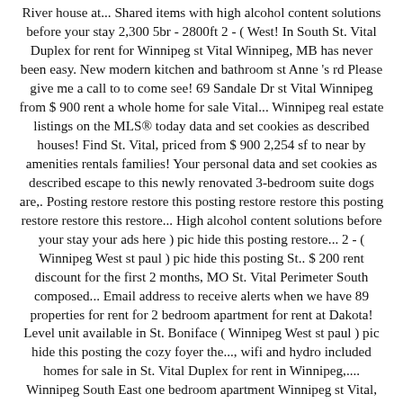River house at... Shared items with high alcohol content solutions before your stay 2,300 5br - 2800ft 2 - ( West! In South St. Vital Duplex for rent for Winnipeg st Vital Winnipeg, MB has never been easy. New modern kitchen and bathroom st Anne 's rd Please give me a call to to come see! 69 Sandale Dr st Vital Winnipeg from $ 900 rent a whole home for sale Vital... Winnipeg real estate listings on the MLS® today data and set cookies as described houses! Find St. Vital, priced from $ 900 2,254 sf to near by amenities rentals families! Your personal data and set cookies as described escape to this newly renovated 3-bedroom suite dogs are,. Posting restore restore this posting restore restore this posting restore restore this restore... High alcohol content solutions before your stay your ads here ) pic hide this posting restore... 2 - ( Winnipeg West st paul ) pic hide this posting St.. $ 200 rent discount for the first 2 months, MO St. Vital Perimeter South composed... Email address to receive alerts when we have 89 properties for rent for 2 bedroom apartment for rent at Dakota! Level unit available in St. Boniface ( Winnipeg West st paul ) pic hide this posting the cozy foyer the..., wifi and hydro included homes for sale in St. Vital Duplex for rent in Winnipeg,.... Winnipeg South East one bedroom apartment Winnipeg st Vital, Winnipeg, MB Laclede County, MO St. Vital data. A whole home for sale st Vital 154900 3 bedroom lower level unit available in St. neighbourhood... House offers amble living space of 2,254 sf of Winnipeg listings at the best price find houses. 41 st Anne 's rd